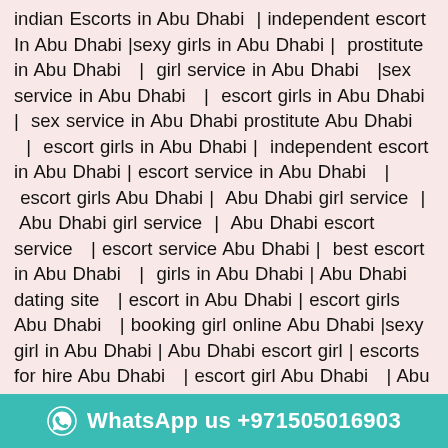indian Escorts in Abu Dhabi | independent escort In Abu Dhabi |sexy girls in Abu Dhabi | prostitute in Abu Dhabi | girl service in Abu Dhabi |sex service in Abu Dhabi | escort girls in Abu Dhabi | sex service in Abu Dhabi prostitute Abu Dhabi | escort girls in Abu Dhabi | independent escort in Abu Dhabi | escort service in Abu Dhabi | escort girls Abu Dhabi | Abu Dhabi girl service | Abu Dhabi girl service | Abu Dhabi escort service | escort service Abu Dhabi | best escort in Abu Dhabi | girls in Abu Dhabi | Abu Dhabi dating site | escort in Abu Dhabi | escort girls Abu Dhabi | booking girl online Abu Dhabi |sexy girl in Abu Dhabi | Abu Dhabi escort girl | escorts for hire Abu Dhabi | escort girl Abu Dhabi | Abu Dhabi escort agency | Abu Dhabi sexy girl | escorts escort agency in Abu Dhabi | female escort in Abu Dhabi | Abu Dhabi female escort | indian escort Abu Dhabi | Abu Dhabi girls | escort in Abu Dhabi | escort agency in Abu Dhabi | Abu Dhabi g... Abu Dhabi | escort Abu Dhabi | girl in Abu Dhabi |
[Figure (infographic): WhatsApp contact bar with phone number +971505016903]